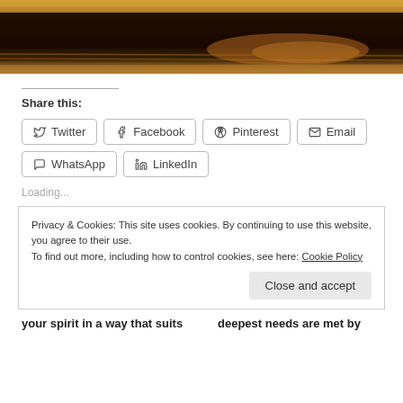[Figure (photo): Dark moody photo cropped at top, warm amber and brown tones suggesting strings or metallic surfaces]
Share this:
Twitter  Facebook  Pinterest  Email  WhatsApp  LinkedIn
Loading...
Privacy & Cookies: This site uses cookies. By continuing to use this website, you agree to their use. To find out more, including how to control cookies, see here: Cookie Policy
Close and accept
your spirit in a way that suits     deepest needs are met by